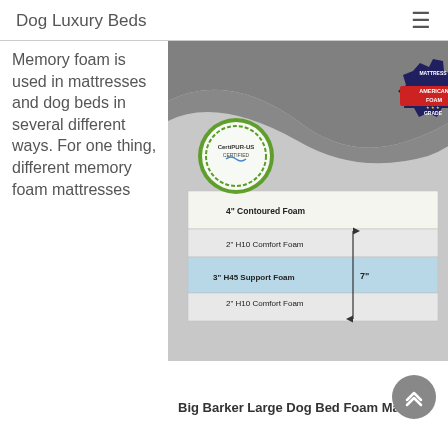Dog Luxury Beds
Memory foam is used in mattresses and dog beds in several different ways. For one thing, different memory foam mattresses
[Figure (photo): Product photo of Big Barker Large Dog Bed showing foam layers cross-section with labels: 4" Contoured Foam, 2" H10 Comfort Foam, 3" H45 Support Foam, 2" H10 Comfort Foam, total 7 inches. CertiPUR-US certified badge and Mattress American Foam Grade badge visible.]
Big Barker Large Dog Bed Foam Mater